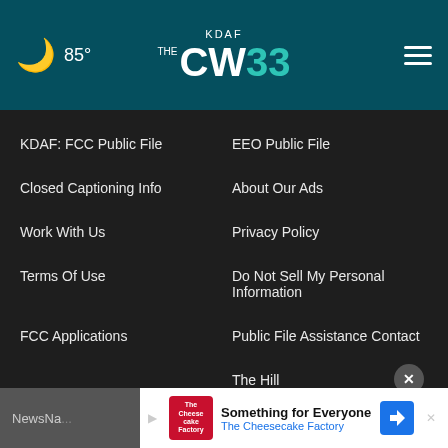85° KDAF CW 33
KDAF: FCC Public File
EEO Public File
Closed Captioning Info
About Our Ads
Work With Us
Privacy Policy
Terms Of Use
Do Not Sell My Personal Information
FCC Applications
Public File Assistance Contact
The Hill
NewsNa...
[Figure (screenshot): Advertisement banner: Something for Everyone - The Cheesecake Factory with logo and navigation arrow icon]